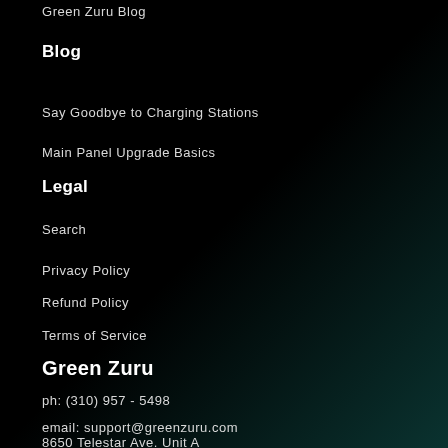Green Zuru Blog
Blog
Say Goodbye to Charging Stations
Main Panel Upgrade Basics
Legal
Search
Privacy Policy
Refund Policy
Terms of Service
Green Zuru
ph: (310) 957 - 5498
email: support@greenzuru.com
8650 Telestar Ave. Unit A